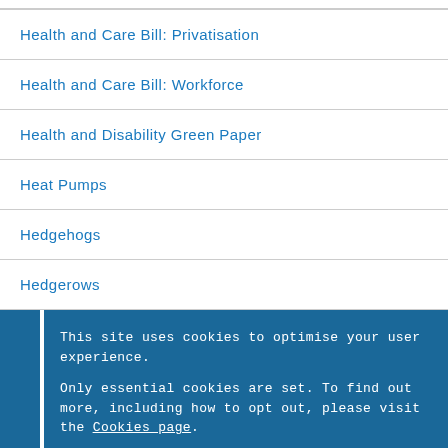Health and Care Bill: Privatisation
Health and Care Bill: Workforce
Health and Disability Green Paper
Heat Pumps
Hedgehogs
Hedgerows
This site uses cookies to optimise your user experience.
Only essential cookies are set. To find out more, including how to opt out, please visit the Cookies page.
OK  Hide this message and remember my decision